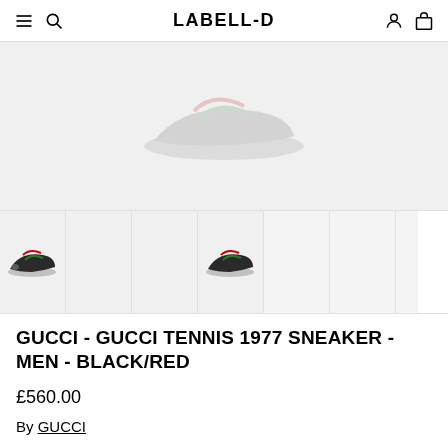LABELL-D
[Figure (photo): Main product image area showing Gucci Tennis 1977 sneaker, light grey background]
[Figure (photo): Thumbnail strip showing 6+ product images of Gucci Tennis 1977 sneaker from various angles, first and fourth thumbnails show the shoe clearly]
GUCCI - GUCCI TENNIS 1977 SNEAKER - MEN - BLACK/RED
£560.00
By GUCCI